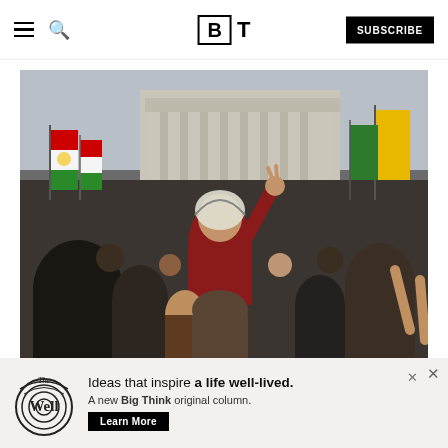BT — Big Think navigation header with hamburger menu, search icon, BT logo, and SUBSCRIBE button
[Figure (photo): A crowd scene at a political protest or rally. A young woman wearing a keffiyeh headscarf and red jacket is lifted on someone's shoulders, raising her right hand in a peace/victory sign and smiling/cheering. The crowd behind holds various flags including Kurdish flags (red, yellow, green). A large neoclassical building is visible in the background against an overcast sky.]
Sushil Nash on Unsplash
Ideas that inspire a life well-lived. A new Big Think original column.